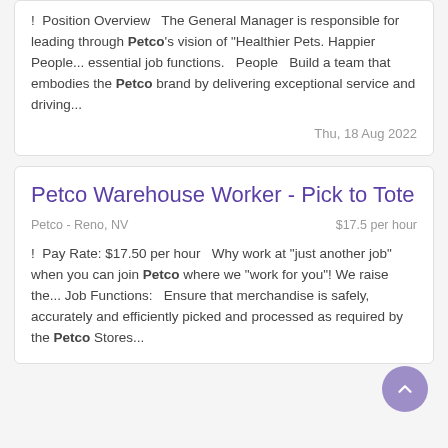!  Position Overview   The General Manager is responsible for leading through Petco's vision of "Healthier Pets. Happier People... essential job functions.  People   Build a team that embodies the Petco brand by delivering exceptional service and driving...
Thu, 18 Aug 2022
Petco Warehouse Worker - Pick to Tote
Petco - Reno, NV
$17.5 per hour
!  Pay Rate: $17.50 per hour   Why work at "just another job" when you can join Petco where we "work for you"! We raise the... Job Functions:   Ensure that merchandise is safely, accurately and efficiently picked and processed as required by the Petco Stores...